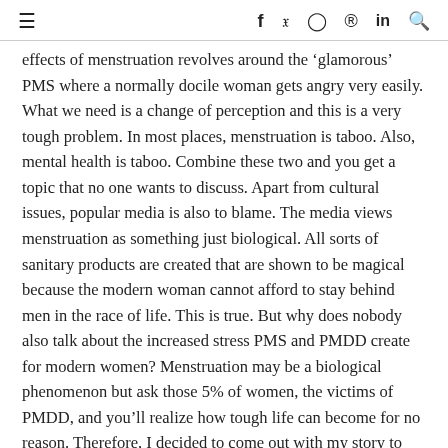≡  f  y  ⊙  ⊕  in  🔍
effects of menstruation revolves around the 'glamorous' PMS where a normally docile woman gets angry very easily. What we need is a change of perception and this is a very tough problem. In most places, menstruation is taboo. Also, mental health is taboo. Combine these two and you get a topic that no one wants to discuss. Apart from cultural issues, popular media is also to blame. The media views menstruation as something just biological. All sorts of sanitary products are created that are shown to be magical because the modern woman cannot afford to stay behind men in the race of life. This is true. But why does nobody also talk about the increased stress PMS and PMDD create for modern women? Menstruation may be a biological phenomenon but ask those 5% of women, the victims of PMDD, and you'll realize how tough life can become for no reason. Therefore, I decided to come out with my story to help someone and share the word about this issue.